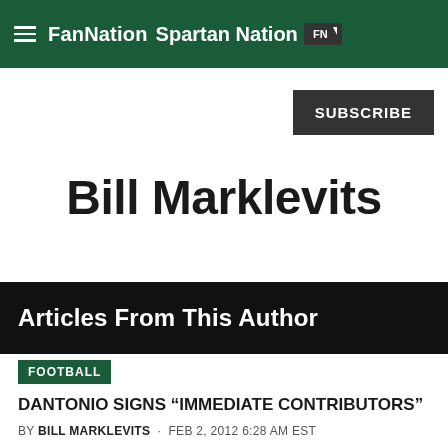FanNation  Spartan Nation
SUBSCRIBE
Bill Marklevits
Articles From This Author
FOOTBALL
DANTONIO SIGNS â€œIMMEDIATE CONTRIBUTORSâ€
BY BILL MARKLEVITS · FEB 2, 2012 6:28 AM EST